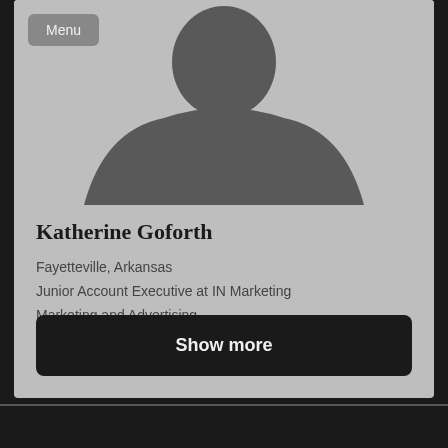[Figure (photo): Silhouette placeholder profile photo of a person, gray background]
Katherine Goforth
Fayetteville, Arkansas
Junior Account Executive at IN Marketing
Marketing and Advertising
Show more